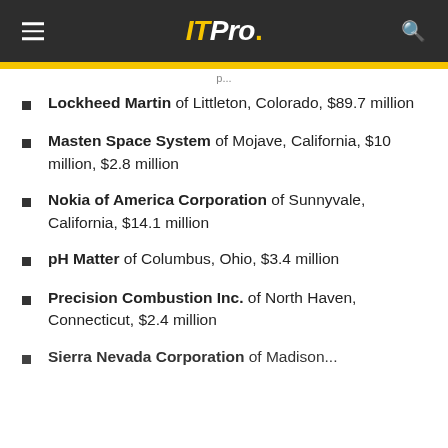IT Pro
Lockheed Martin of Littleton, Colorado, $89.7 million
Masten Space System of Mojave, California, $10 million, $2.8 million
Nokia of America Corporation of Sunnyvale, California, $14.1 million
pH Matter of Columbus, Ohio, $3.4 million
Precision Combustion Inc. of North Haven, Connecticut, $2.4 million
Sierra Nevada Corporation of Madison...